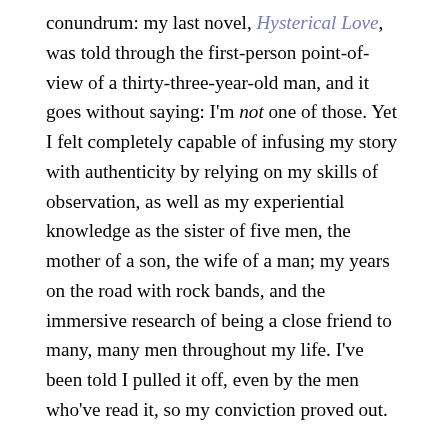conundrum: my last novel, Hysterical Love, was told through the first-person point-of-view of a thirty-three-year-old man, and it goes without saying: I'm not one of those. Yet I felt completely capable of infusing my story with authenticity by relying on my skills of observation, as well as my experiential knowledge as the sister of five men, the mother of a son, the wife of a man; my years on the road with rock bands, and the immersive research of being a close friend to many, many men throughout my life. I've been told I pulled it off, even by the men who've read it, so my conviction proved out.
But is the divide between cultures, races, wider